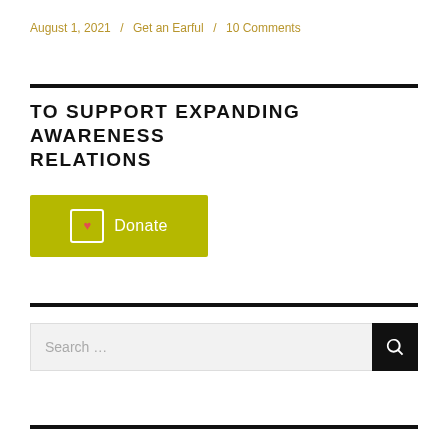August 1, 2021 / Get an Earful / 10 Comments
TO SUPPORT EXPANDING AWARENESS RELATIONS
[Figure (other): Olive/yellow-green donate button with a bracket-heart icon and white text reading 'Donate']
[Figure (other): Search bar with placeholder 'Search ...' and a black search button with magnifying glass icon]